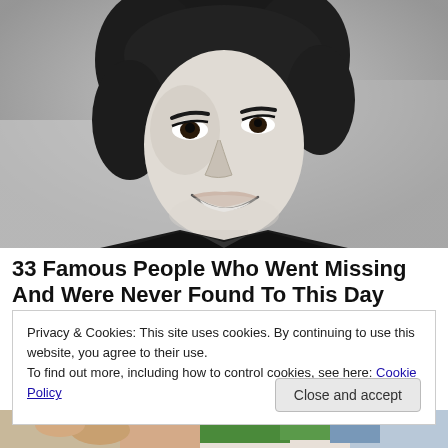[Figure (photo): Black and white photograph of a young person with dark medium-length hair, smiling, wearing a dark jacket. Close-up portrait style.]
33 Famous People Who Went Missing And Were Never Found To This Day
Privacy & Cookies: This site uses cookies. By continuing to use this website, you agree to their use.
To find out more, including how to control cookies, see here: Cookie Policy
[Figure (photo): Partial image at the bottom of the page showing colorful objects, partially cut off.]